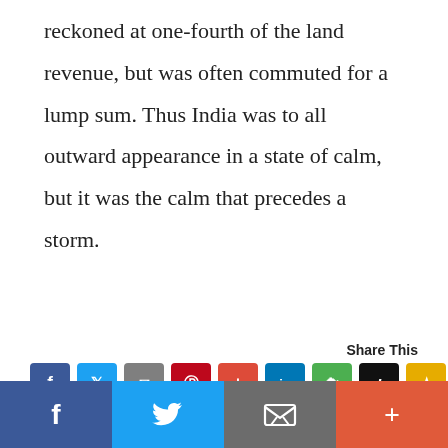reckoned at one-fourth of the land revenue, but was often commuted for a lump sum. Thus India was to all outward appearance in a state of calm, but it was the calm that precedes a storm.
[Figure (infographic): Share This section with social media share buttons: Facebook (blue), Twitter (blue), Email (gray), Pinterest (red), Google+ (orange-red), LinkedIn (blue), Evernote (green), Instapaper (black), Bookmark (yellow)]
Suggestions for Further Reading
This website uses cookies to ensure you get the best experience on our website.
[Figure (infographic): Bottom share bar with Facebook, Twitter, Email, and Plus buttons]